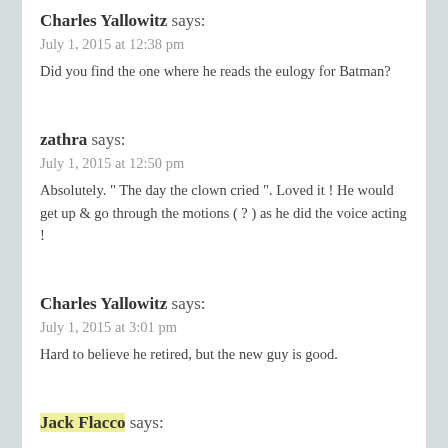Charles Yallowitz says:
July 1, 2015 at 12:38 pm
Did you find the one where he reads the eulogy for Batman?
zathra says:
July 1, 2015 at 12:50 pm
Absolutely. " The day the clown cried ". Loved it ! He would get up & go through the motions ( ? ) as he did the voice acting !
Charles Yallowitz says:
July 1, 2015 at 3:01 pm
Hard to believe he retired, but the new guy is good.
Jack Flacco says: